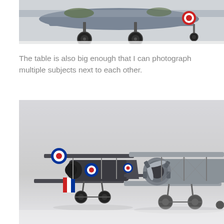[Figure (photo): Close-up photograph showing the undercarriage and lower fuselage of a grey WWII-era military aircraft model, with landing gear wheels visible against a white background.]
The table is also big enough that I can photograph multiple subjects next to each other.
[Figure (photo): Photograph of two vintage biplane aircraft models placed side by side on a white table. The left model is a smaller dark grey/green biplane with RAF roundels (blue/white/red circles) and a French roundel on the tail. The right model is a larger grey biplane with a radial engine visible at the front. Both models are detailed with struts, wires, and markings.]